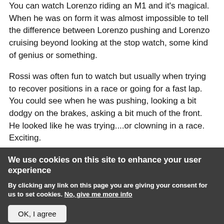You can watch Lorenzo riding an M1 and it's magical. When he was on form it was almost impossible to tell the difference between Lorenzo pushing and Lorenzo cruising beyond looking at the stop watch, some kind of genius or something.
Rossi was often fun to watch but usually when trying to recover positions in a race or going for a fast lap. You could see when he was pushing, looking a bit dodgy on the brakes, asking a bit much of the front. He looked like he was trying....or clowning in a race. Exciting.
We use cookies on this site to enhance your user experience
By clicking any link on this page you are giving your consent for us to set cookies. No, give me more info
OK, I agree